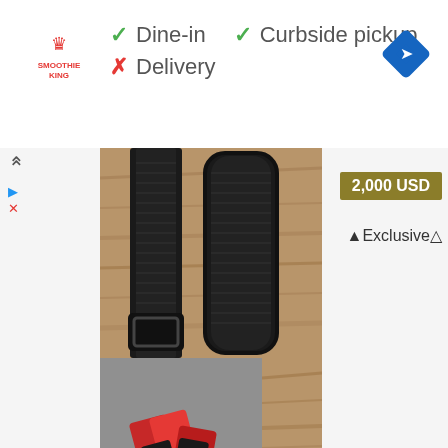[Figure (logo): Smoothie King logo in red]
✓ Dine-in
✓ Curbside pickup
✗ Delivery
[Figure (photo): Two black nylon/velcro straps shown on a wood grain background, with a black D-ring buckle on the left strap]
[Figure (photo): Red and black plastic clip/buckle accessories on a grey surface]
2,000 USD
🛈Exclusive🛈